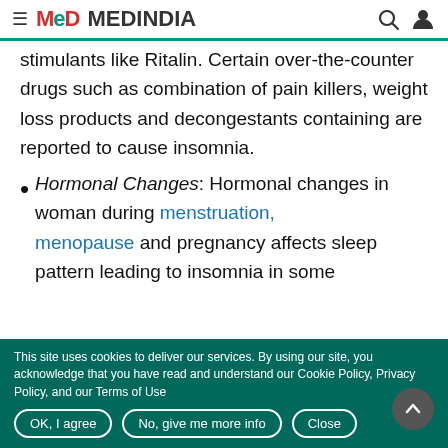≡ MeD MEDINDIA [search icon] [user icon]
stimulants like Ritalin. Certain over-the-counter drugs such as combination of pain killers, weight loss products and decongestants containing are reported to cause insomnia.
Hormonal Changes: Hormonal changes in woman during menstruation, menopause and pregnancy affects sleep pattern leading to insomnia in some cases
This site uses cookies to deliver our services. By using our site, you acknowledge that you have read and understand our Cookie Policy, Privacy Policy, and our Terms of Use
OK, I agree | No, give me more info | Close